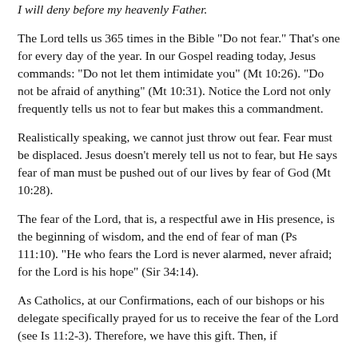I will deny before my heavenly Father.
The Lord tells us 365 times in the Bible "Do not fear." That's one for every day of the year. In our Gospel reading today, Jesus commands: "Do not let them intimidate you" (Mt 10:26). "Do not be afraid of anything" (Mt 10:31). Notice the Lord not only frequently tells us not to fear but makes this a commandment.
Realistically speaking, we cannot just throw out fear. Fear must be displaced. Jesus doesn't merely tell us not to fear, but He says fear of man must be pushed out of our lives by fear of God (Mt 10:28).
The fear of the Lord, that is, a respectful awe in His presence, is the beginning of wisdom, and the end of fear of man (Ps 111:10). "He who fears the Lord is never alarmed, never afraid; for the Lord is his hope" (Sir 34:14).
As Catholics, at our Confirmations, each of our bishops or his delegate specifically prayed for us to receive the fear of the Lord (see Is 11:2-3). Therefore, we have this gift. Then, if we have a greater fear of the Lord (see Acts 9:31), we will...